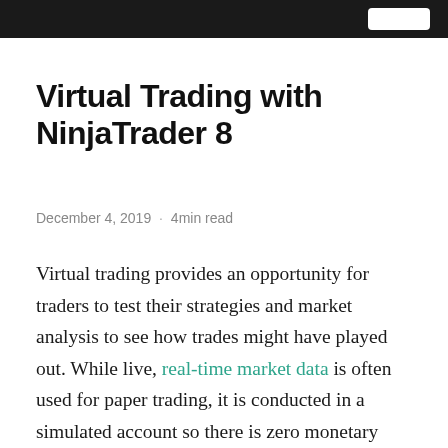Virtual Trading with NinjaTrader 8
December 4, 2019 · 4min read
Virtual trading provides an opportunity for traders to test their strategies and market analysis to see how trades might have played out. While live, real-time market data is often used for paper trading, it is conducted in a simulated account so there is zero monetary risk. In this article, we will see how to use the virtual trading